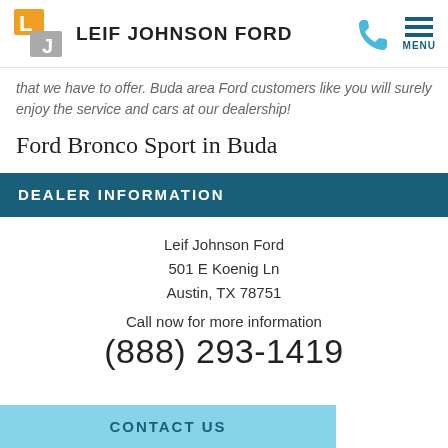LEIF JOHNSON FORD
that we have to offer. Buda area Ford customers like you will surely enjoy the service and cars at our dealership!
Ford Bronco Sport in Buda
DEALER INFORMATION
Leif Johnson Ford
501 E Koenig Ln
Austin, TX 78751

Call now for more information
(888) 293-1419
CONTACT US